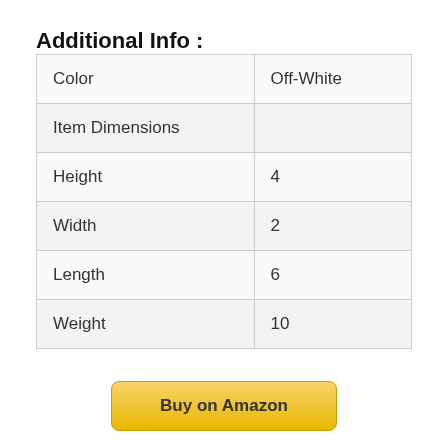Additional Info :
| Color | Off-White |
| Item Dimensions |  |
| Height | 4 |
| Width | 2 |
| Length | 6 |
| Weight | 10 |
Buy on Amazon